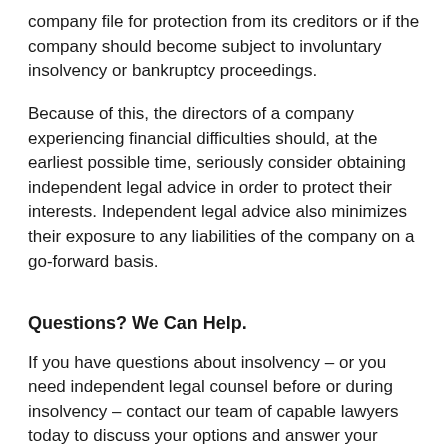company file for protection from its creditors or if the company should become subject to involuntary insolvency or bankruptcy proceedings.
Because of this, the directors of a company experiencing financial difficulties should, at the earliest possible time, seriously consider obtaining independent legal advice in order to protect their interests. Independent legal advice also minimizes their exposure to any liabilities of the company on a go-forward basis.
Questions? We Can Help.
If you have questions about insolvency – or you need independent legal counsel before or during insolvency – contact our team of capable lawyers today to discuss your options and answer your questions.